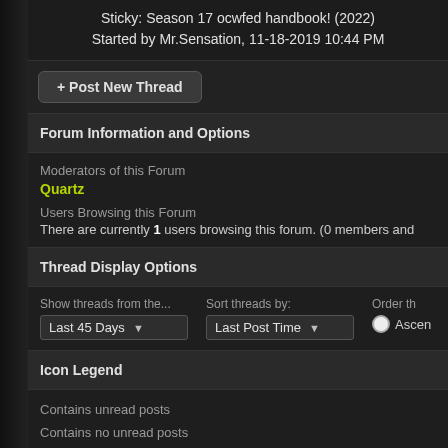Sticky: Season 17 ocwfed handbook! (2022)
Started by Mr.Sensation, 11-18-2019 10:44 PM
+ Post New Thread
Forum Information and Options
Moderators of this Forum
Quartz
Users Browsing this Forum
There are currently 1 users browsing this forum. (0 members and
Thread Display Options
Show threads from the...
Last 45 Days
Sort threads by:
Last Post Time
Order th
Ascen
Icon Legend
Contains unread posts
Contains no unread posts